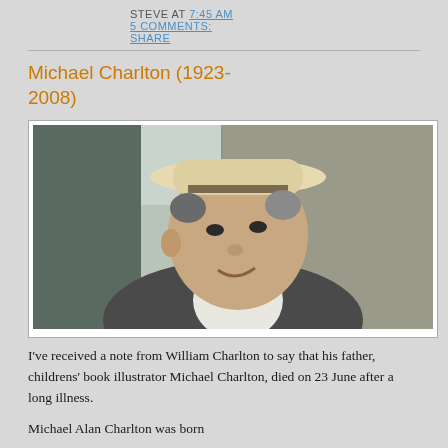STEVE AT 7:45 AM
5 COMMENTS:
SHARE
Michael Charlton (1923-2008)
[Figure (photo): Portrait photo of Michael Charlton, an elderly man wearing a light-colored straw hat and a light jacket, smiling slightly, with a curtain and window visible in the background.]
I've received a note from William Charlton to say that his father, childrens' book illustrator Michael Charlton, died on 23 June after a long illness.
Michael Alan Charlton was born